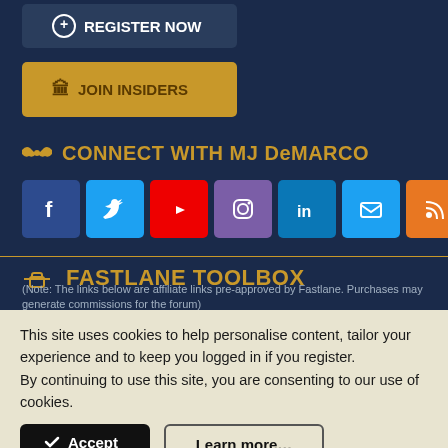[Figure (other): Register Now button - dark navy background with white text and circle plus icon]
[Figure (other): Join Insiders button - gold/yellow background with bank icon and dark text]
CONNECT WITH MJ DeMARCO
[Figure (other): Social media icon buttons: Facebook, Twitter, YouTube, Instagram, LinkedIn, Email, RSS]
FASTLANE TOOLBOX
(Note: The links below are affiliate links pre-approved by Fastlane. Purchases may generate commissions for the forum)
This site uses cookies to help personalise content, tailor your experience and to keep you logged in if you register.
By continuing to use this site, you are consenting to our use of cookies.
[Figure (other): Accept button - black rounded rectangle with checkmark icon]
[Figure (other): Learn more... button - outlined rounded rectangle]